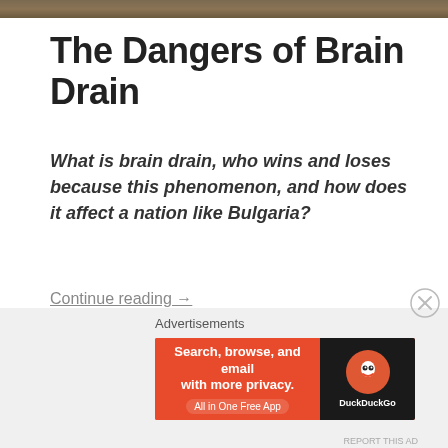[Figure (photo): Cropped top edge of a landscape photo, appears to show trees or outdoor scenery]
The Dangers of Brain Drain
What is brain drain, who wins and loses because this phenomenon, and how does it affect a nation like Bulgaria?
Continue reading →
[Figure (other): DuckDuckGo advertisement banner: Search, browse, and email with more privacy. All in One Free App]
Advertisements